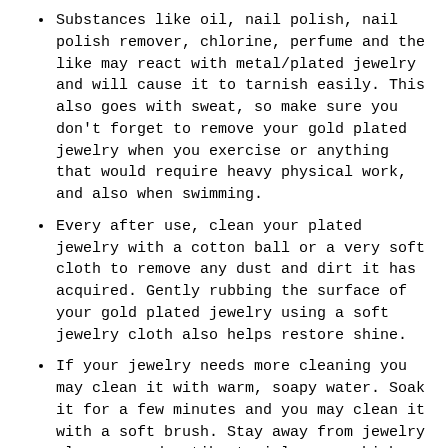Substances like oil, nail polish, nail polish remover, chlorine, perfume and the like may react with metal/plated jewelry and will cause it to tarnish easily. This also goes with sweat, so make sure you don't forget to remove your gold plated jewelry when you exercise or anything that would require heavy physical work, and also when swimming.
Every after use, clean your plated jewelry with a cotton ball or a very soft cloth to remove any dust and dirt it has acquired. Gently rubbing the surface of your gold plated jewelry using a soft jewelry cloth also helps restore shine.
If your jewelry needs more cleaning you may clean it with warm, soapy water. Soak it for a few minutes and you may clean it with a soft brush. Stay away from jewelry cleaners and antibacterial soaps which may have certain components that will just make your gold plated jewelry tarnish more quickly.
We do not and cannot guarantee how long the Gold Plating will last. If does happen that the gold plating fades away over time and you wish to get it plated again, we offer Gold Plating service for our customers only. There will be a nominal discounted charge for